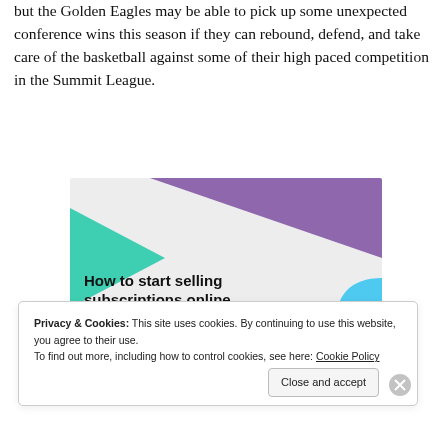but the Golden Eagles may be able to pick up some unexpected conference wins this season if they can rebound, defend, and take care of the basketball against some of their high paced competition in the Summit League.
[Figure (illustration): Advertisement banner with purple and teal geometric shapes on a light gray background, showing text 'How to start selling subscriptions online' with a button below.]
Privacy & Cookies: This site uses cookies. By continuing to use this website, you agree to their use.
To find out more, including how to control cookies, see here: Cookie Policy
Close and accept